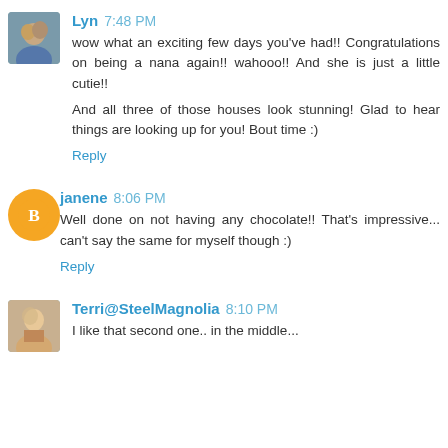[Figure (photo): Avatar photo of Lyn - small circular profile photo of a person]
Lyn 7:48 PM
wow what an exciting few days you've had!! Congratulations on being a nana again!! wahooo!! And she is just a little cutie!!
And all three of those houses look stunning! Glad to hear things are looking up for you! Bout time :)
Reply
[Figure (logo): Blogger orange circle logo with white B]
janene 8:06 PM
Well done on not having any chocolate!! That's impressive... can't say the same for myself though :)
Reply
[Figure (photo): Avatar photo of Terri@SteelMagnolia - small profile photo]
Terri@SteelMagnolia 8:10 PM
I like that second one.. in the middle...